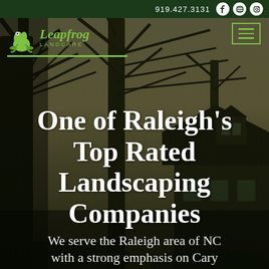919.427.3131
[Figure (screenshot): Leapfrog Landcare landscaping company website hero page screenshot showing a background photo of bare trees and a house in autumn/winter, with navigation header containing logo and phone number, and main headline text over the photo]
One of Raleigh's Top Rated Landscaping Companies
We serve the Raleigh area of NC with a strong emphasis on Cary